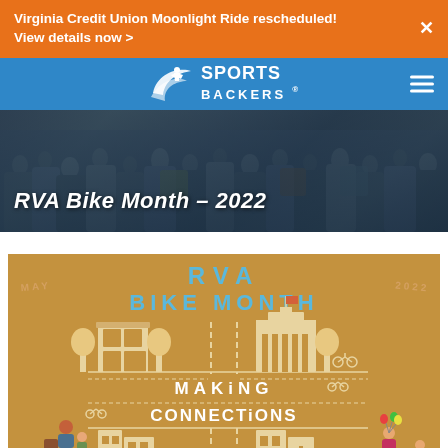Virginia Credit Union Moonlight Ride rescheduled! View details now >
[Figure (logo): Sports Backers logo with swoosh icon and text SPORTS BACKERS]
RVA Bike Month – 2022
[Figure (infographic): RVA Bike Month 2022 poster on brown/tan background. Text reads MAY and 2022 on sides. Large blue text RVA BIKE MONTH at top. Building illustrations in center with dashed road lines. Text reads MAKING CONNECTIONS. Cyclist illustrations on left and right bottom corners.]